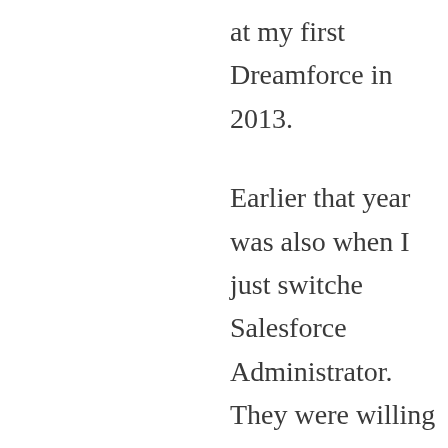at my first Dreamforce in 2013.
Earlier that year was also when I just switched Salesforce Administrator. They were willing year prior and passed the ADM 201 exam. It Admin position was a immediate 50% pay c couldn't have happened at a worse time, bec child and I was struggling to see whether sw
During that week of Dreamforce, I just remer an average of 3 hours of sleep per night in m SFDC99.com going through all the articles, p developer org!